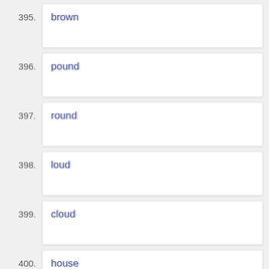395. brown
396. pound
397. round
398. loud
399. cloud
400. house